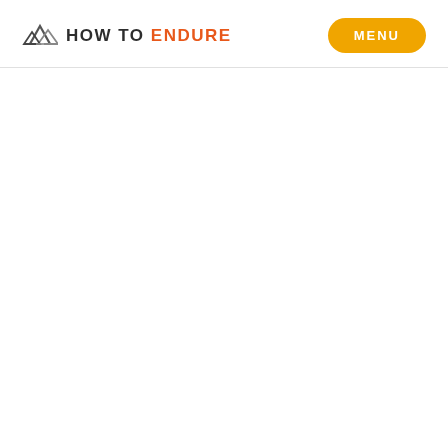HOW TO ENDURE — MENU
[Figure (logo): How To Endure logo with mountain peak icon and text 'HOW TO ENDURE' in uppercase, with a yellow rounded MENU button on the right]